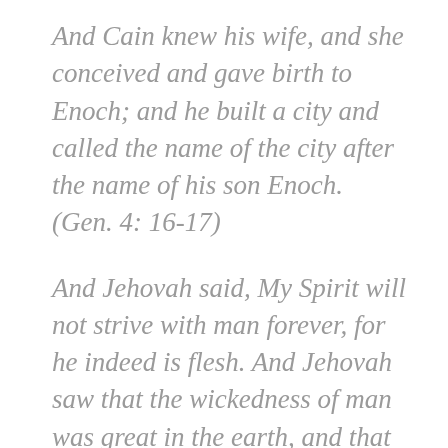And Cain knew his wife, and she conceived and gave birth to Enoch; and he built a city and called the name of the city after the name of his son Enoch. (Gen. 4: 16-17)
And Jehovah said, My Spirit will not strive with man forever, for he indeed is flesh. And Jehovah saw that the wickedness of man was great in the earth, and that every imagination of the thoughts of his heart was only evil continually. And Jehovah